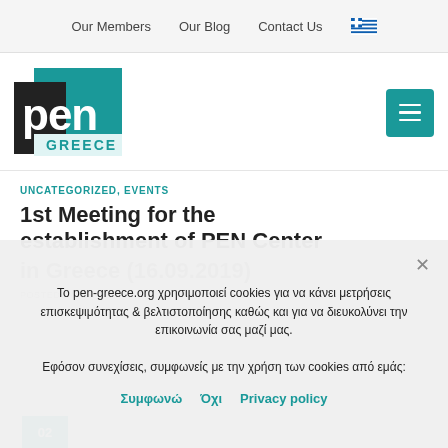Our Members   Our Blog   Contact Us
[Figure (logo): PEN Greece logo — teal square with bold 'pen' text and 'GREECE' label]
1st Meeting for the establishment of PEN Center in Greece (16.09.2019)
UNCATEGORIZED, EVENTS
POSTED ON 3...
Το pen-greece.org χρησιμοποιεί cookies για να κάνει μετρήσεις επισκεψιμότητας & βελτιστοποίησης καθώς και για να διευκολύνει την επικοινωνία σας μαζί μας.
Εφόσον συνεχίσεις, συμφωνείς με την χρήση των cookies από εμάς:
Συμφωνώ   Όχι   Privacy policy